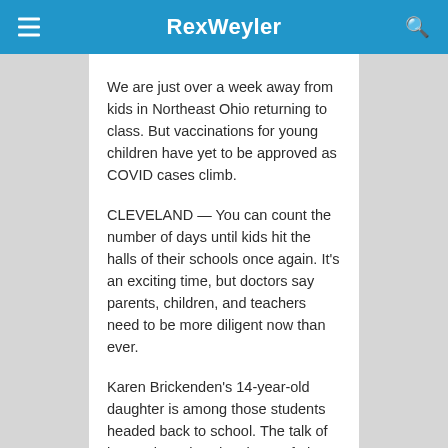RexWeyler
We are just over a week away from kids in Northeast Ohio returning to class. But vaccinations for young children have yet to be approved as COVID cases climb.
CLEVELAND — You can count the number of days until kids hit the halls of their schools once again. It's an exciting time, but doctors say parents, children, and teachers need to be more diligent now than ever.
Karen Brickenden's 14-year-old daughter is among those students headed back to school. The talk of how to keep her daughter safe has become top of mind for her family.